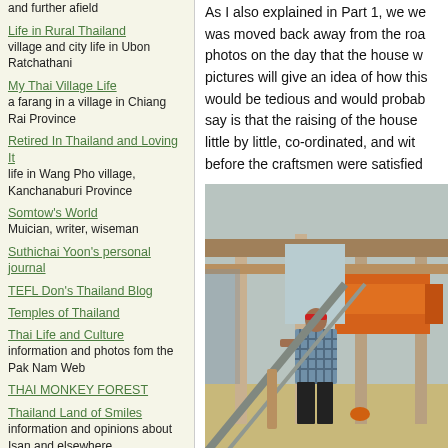and further afield
Life in Rural Thailand
village and city life in Ubon Ratchathani
My Thai Village Life
a farang in a village in Chiang Rai Province
Retired In Thailand and Loving It
life in Wang Pho village, Kanchanaburi Province
Somtow's World
Muician, writer, wiseman
Suthichai Yoon's personal journal
TEFL Don's Thailand Blog
Temples of Thailand
Thai Life and Culture
information and photos fom the Pak Nam Web
THAI MONKEY FOREST
Thailand Land of Smiles
information and opinions about Isan and elsewhere
The Thai Pirate
Thai Blog and Travel Stories
Women Learning Thai ... and Some Men Too
resources and insights into Thai language and culture
LINKS
As I also explained in Part 1, we we was moved back away from the roa photos on the day that the house w pictures will give an idea of how this would be tedious and would probab say is that the raising of the house little by little, co-ordinated, and wit before the craftsmen were satisfied
[Figure (photo): A construction worker wearing a red headband and plaid shirt working on a wooden house structure being raised, with an orange truck visible in the background]